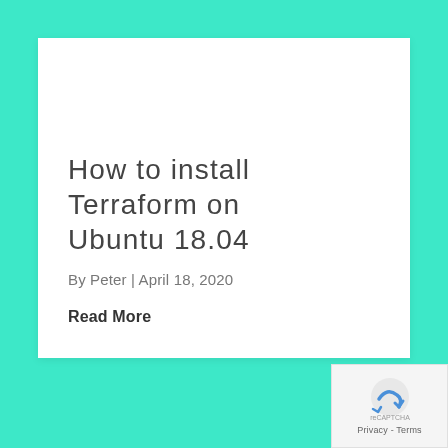How to install Terraform on Ubuntu 18.04
By Peter | April 18, 2020
Read More
[Figure (logo): Privacy - Terms reCAPTCHA badge with blue arrow icon]